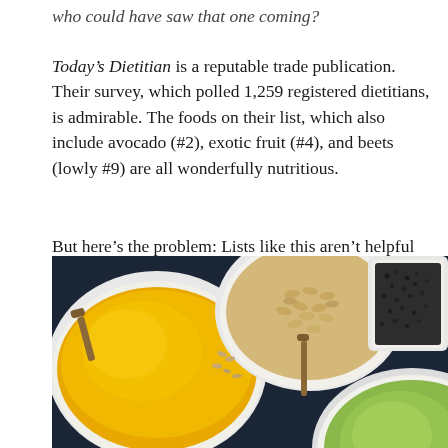who could have saw that one coming?
Today’s Dietitian is a reputable trade publication. Their survey, which polled 1,259 registered dietitians, is admirable. The foods on their list, which also include avocado (#2), exotic fruit (#4), and beets (lowly #9) are all wonderfully nutritious.
But here’s the problem: Lists like this aren’t helpful because “superfoods” don’t really exist.
[Figure (photo): Overhead view of white bowls and dishes containing various superfoods including yellow turmeric powder, wheat grains, green powder, and black chia seeds arranged on a dark surface with wooden spoons.]